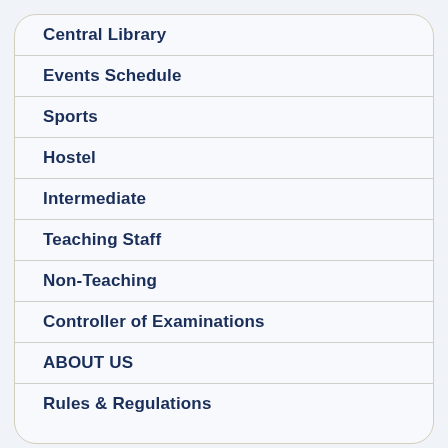Central Library
Events Schedule
Sports
Hostel
Intermediate
Teaching Staff
Non-Teaching
Controller of Examinations
ABOUT US
Rules & Regulations